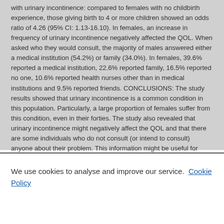with urinary incontinence: compared to females with no childbirth experience, those giving birth to 4 or more children showed an odds ratio of 4.26 (95% CI: 1.13-16.10). In females, an increase in frequency of urinary incontinence negatively affected the QOL. When asked who they would consult, the majority of males answered either a medical institution (54.2%) or family (34.0%). In females, 39.6% reported a medical institution, 22.6% reported family, 16.5% reported no one, 10.6% reported health nurses other than in medical institutions and 9.5% reported friends. CONCLUSIONS: The study results showed that urinary incontinence is a common condition in this population. Particularly, a large proportion of females suffer from this condition, even in their forties. The study also revealed that urinary incontinence might negatively affect the QOL and that there are some individuals who do not consult (or intend to consult) anyone about their problem. This information might be useful for planning health policy on the topic in the future.
We use cookies to analyse and improve our service. Cookie Policy